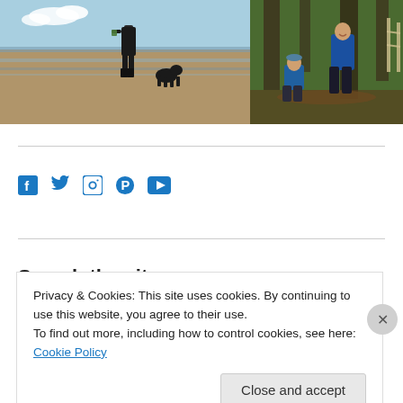[Figure (photo): Two photos side by side: left photo shows a person standing on a beach with a black dog sitting nearby, wearing dark clothing and boots, sandy beach with water reflections; right photo shows two people in blue jackets in a woodland setting, sitting/standing among fallen logs and trees.]
Social media icons: Facebook, Twitter, Instagram, Pinterest, YouTube
Search the site
Privacy & Cookies: This site uses cookies. By continuing to use this website, you agree to their use.
To find out more, including how to control cookies, see here: Cookie Policy
Close and accept